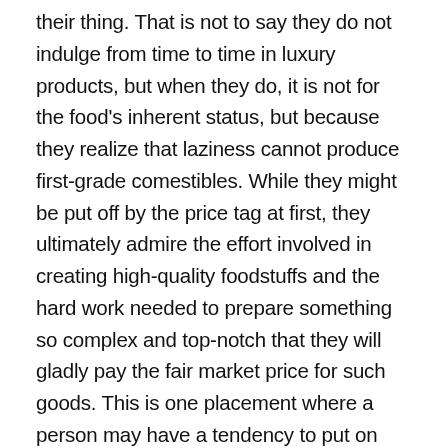their thing. That is not to say they do not indulge from time to time in luxury products, but when they do, it is not for the food's inherent status, but because they realize that laziness cannot produce first-grade comestibles. While they might be put off by the price tag at first, they ultimately admire the effort involved in creating high-quality foodstuffs and the hard work needed to prepare something so complex and top-notch that they will gladly pay the fair market price for such goods. This is one placement where a person may have a tendency to put on weight and not really care—possessing a few extra pounds merely signifies they are fully taking advantage of Earth's abundance. A slightly rounded figure may also conjure up idyllic images of nurturing, home, and mother. In any case, they are put off by superficial appearances and care more about everyday living and achieving results; they don't have time to be